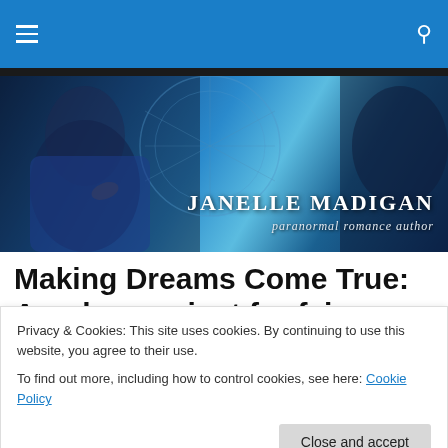Navigation bar with hamburger menu and search icon
[Figure (illustration): Banner image for Janelle Madigan paranormal romance author website. Shows a dark-haired woman in blue jacket on left, a face on right, with blue teal artistic background and circular decorative elements. Text reads JANELLE MADIGAN paranormal romance author]
Making Dreams Come True:
Are dreams just for fairy tales?
Privacy & Cookies: This site uses cookies. By continuing to use this website, you agree to their use.
To find out more, including how to control cookies, see here: Cookie Policy
Close and accept
Perhaps some of life is luck: being in the right place in the